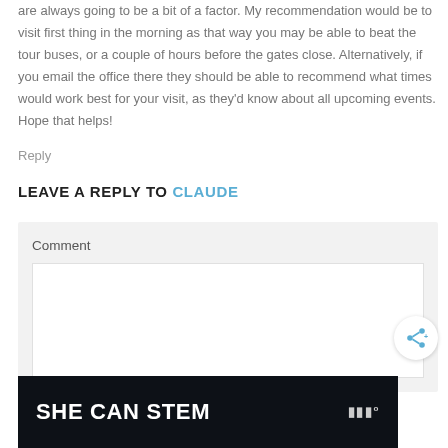are always going to be a bit of a factor. My recommendation would be to visit first thing in the morning as that way you may be able to beat the tour buses, or a couple of hours before the gates close. Alternatively, if you email the office there they should be able to recommend what times would work best for your visit, as they'd know about all upcoming events. Hope that helps!
Reply
LEAVE A REPLY TO CLAUDE
Comment
[Figure (screenshot): Comment text input textarea (empty white box) inside a light grey form area]
[Figure (screenshot): Share icon button (circular white button with share symbol)]
[Figure (infographic): Dark advertisement banner reading SHE CAN STEM with a logo on the right]